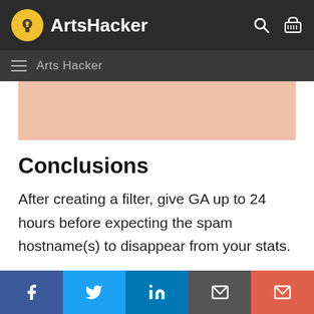ArtsHacker
Arts Hacker
[Figure (other): Salmon/peach colored image placeholder area]
Conclusions
After creating a filter, give GA up to 24 hours before expecting the spam hostname(s) to disappear from your stats.
Social share buttons: Facebook, Twitter, LinkedIn, Email, Email